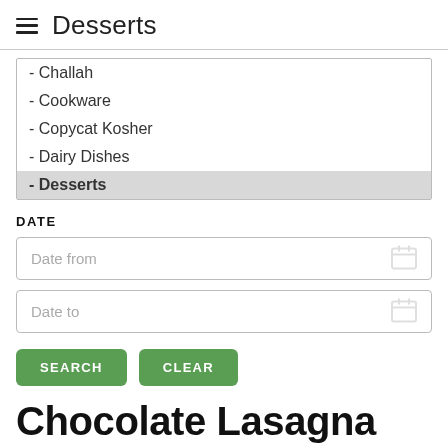Desserts
- Challah
- Cookware
- Copycat Kosher
- Dairy Dishes
- Desserts
DATE
Date from
Date to
SEARCH
CLEAR
Chocolate Lasagna
KosherEye.com